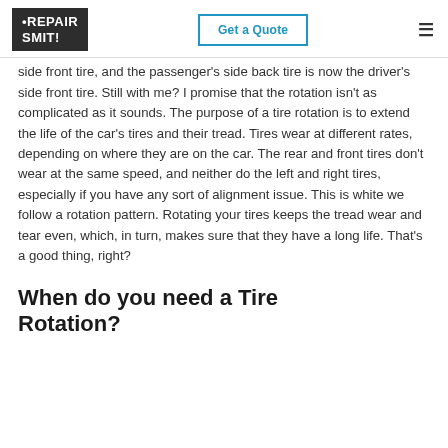RepairSmith | Get a Quote
side front tire, and the passenger's side back tire is now the driver's side front tire. Still with me? I promise that the rotation isn't as complicated as it sounds. The purpose of a tire rotation is to extend the life of the car's tires and their tread. Tires wear at different rates, depending on where they are on the car. The rear and front tires don't wear at the same speed, and neither do the left and right tires, especially if you have any sort of alignment issue. This is white we follow a rotation pattern. Rotating your tires keeps the tread wear and tear even, which, in turn, makes sure that they have a long life. That's a good thing, right?
When do you need a Tire Rotation?